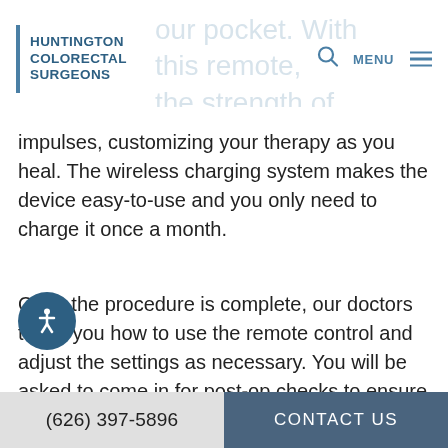HUNTINGTON COLORECTAL SURGEONS
impulses, customizing your therapy as you heal. The wireless charging system makes the device easy-to-use and you only need to charge it once a month.
Once the procedure is complete, our doctors teach you how to use the remote control and adjust the settings as necessary. You will be asked to come in for post-op checks to ensure the therapy is producing the desired results.
(626) 397-5896   CONTACT US